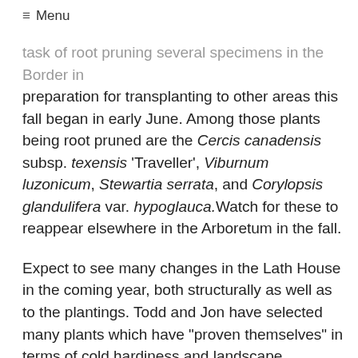≡ Menu
task of root pruning several specimens in the Border in preparation for transplanting to other areas this fall began in early June. Among those plants being root pruned are the Cercis canadensis subsp. texensis 'Traveller', Viburnum luzonicum, Stewartia serrata, and Corylopsis glandulifera var. hypoglauca. Watch for these to reappear elsewhere in the Arboretum in the fall.
Expect to see many changes in the Lath House in the coming year, both structurally as well as to the plantings. Todd and Jon have selected many plants which have "proven themselves" in terms of cold hardiness and landscape toughness and are ready to move beyond the shaded protection of the Lath House. Look to see many of these old friends showing up in new places throughout the Arboretum. Coupled with these transplantings, expect to see a new influx of